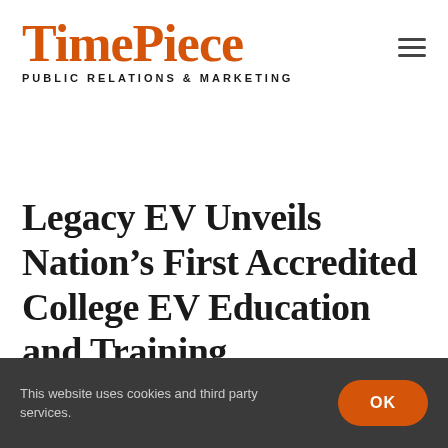TimePiece PUBLIC RELATIONS & MARKETING
Legacy EV Unveils Nation’s First Accredited College EV Education and Training Certification Through Carroll
This website uses cookies and third party services.